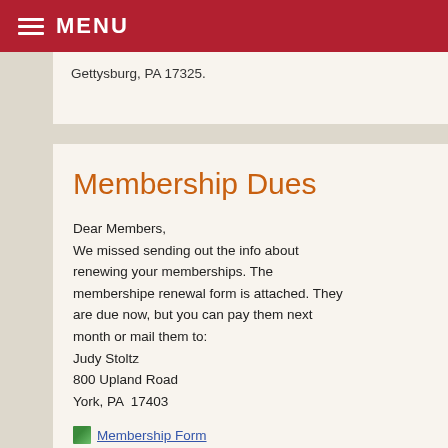MENU
Gettysburg, PA 17325.
Membership Dues
Dear Members,
We missed sending out the info about renewing your memberships. The membershipe renewal form is attached. They are due now, but you can pay them next month or mail them to:
Judy Stoltz
800 Upland Road
York, PA  17403
Membership Form